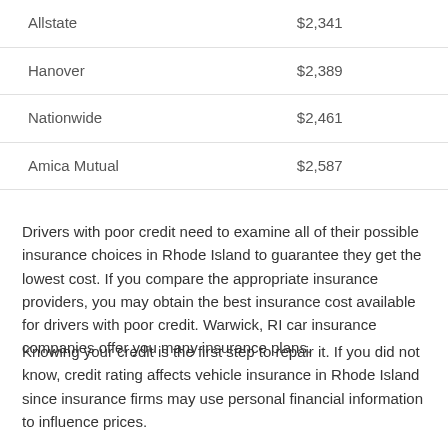| Allstate | $2,341 |
| Hanover | $2,389 |
| Nationwide | $2,461 |
| Amica Mutual | $2,587 |
Drivers with poor credit need to examine all of their possible insurance choices in Rhode Island to guarantee they get the lowest cost. If you compare the appropriate insurance providers, you may obtain the best insurance cost available for drivers with poor credit. Warwick, RI car insurance companies offer you many insurance plans.
Knowing your credit is the first step to repair it. If you did not know, credit rating affects vehicle insurance in Rhode Island since insurance firms may use personal financial information to influence prices.